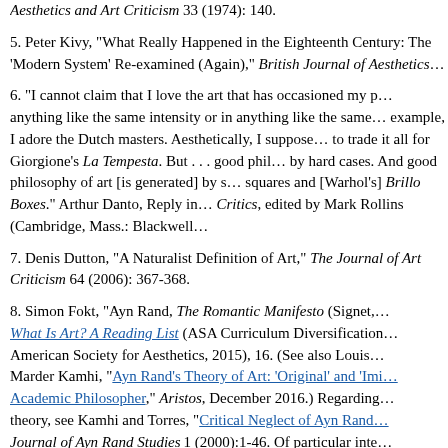Aesthetics and Art Criticism 33 (1974): 140.
5. Peter Kivy, "What Really Happened in the Eighteenth Century: The 'Modern System' Re-examined (Again)," British Journal of Aesthetics...
6. "I cannot claim that I love the art that has occasioned my p... anything like the same intensity or in anything like the same... example, I adore the Dutch masters. Aesthetically, I suppose... to trade it all for Giorgione's La Tempesta. But . . . good phi... by hard cases. And good philosophy of art [is generated] by... squares and [Warhol's] Brillo Boxes." Arthur Danto, Reply in... Critics, edited by Mark Rollins (Cambridge, Mass.: Blackwe...
7. Denis Dutton, "A Naturalist Definition of Art," The Journe... Art Criticism 64 (2006): 367-368.
8. Simon Fokt, "Ayn Rand, The Romantic Manifesto (Signet,... What Is Art? A Reading List (ASA Curriculum Diversificatio... American Society for Aesthetics, 2015), 16. (See also Louis... Marder Kamhi, "Ayn Rand's Theory of Art: 'Original' and 'Im... Academic Philosopher," Aristos, December 2016.) Regardin... theory, see Kamhi and Torres, "Critical Neglect of Ayn Rand... Journal of Ayn Rand Studies 1 (2000):1-46. Of particular inte... "Hospers and Rand" (pp. 10-12) about her interaction with...